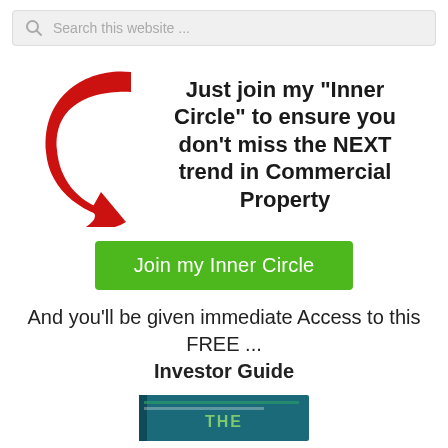[Figure (screenshot): Search bar with magnifying glass icon and placeholder text 'Search this website ...']
[Figure (infographic): Red curved arrow pointing down-left alongside bold promotional text: Just join my "Inner Circle" to ensure you don't miss the NEXT trend in Commercial Property]
[Figure (other): Green call-to-action button labeled 'Join my Inner Circle']
And you'll be given immediate Access to this FREE ... Investor Guide
[Figure (photo): Partially visible book cover (teal/dark colored) at the bottom of the page]